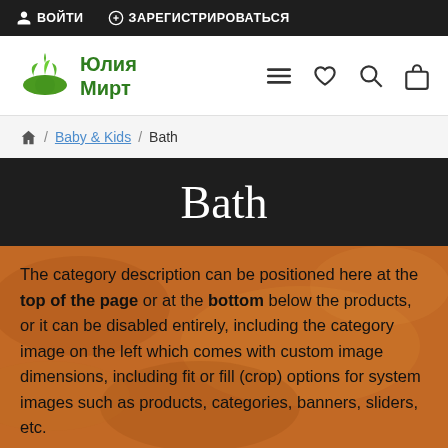ВОЙТИ  ЗАРЕГИСТРИРОВАТЬСЯ
[Figure (logo): Юлия Мирт brand logo with green leaf/plant icon and Cyrillic text]
🏠 / Baby & Kids / Bath
Bath
The category description can be positioned here at the top of the page or at the bottom below the products, or it can be disabled entirely, including the category image on the left which comes with custom image dimensions, including fit or fill (crop) options for system images such as products, categories, banners, sliders, etc.